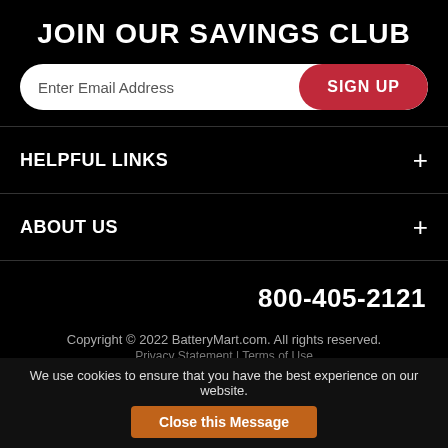JOIN OUR SAVINGS CLUB
Enter Email Address
SIGN UP
HELPFUL LINKS
ABOUT US
800-405-2121
Copyright © 2022 BatteryMart.com. All rights reserved.
Privacy Statement | Terms of Use
We use cookies to ensure that you have the best experience on our website.
Close this Message